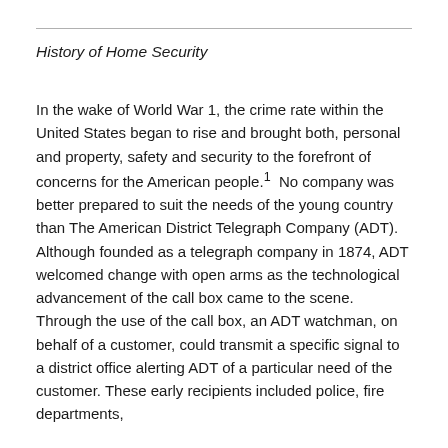History of Home Security
In the wake of World War 1, the crime rate within the United States began to rise and brought both, personal and property, safety and security to the forefront of concerns for the American people.¹ No company was better prepared to suit the needs of the young country than The American District Telegraph Company (ADT). Although founded as a telegraph company in 1874, ADT welcomed change with open arms as the technological advancement of the call box came to the scene. Through the use of the call box, an ADT watchman, on behalf of a customer, could transmit a specific signal to a district office alerting ADT of a particular need of the customer. These early recipients included police, fire departments,